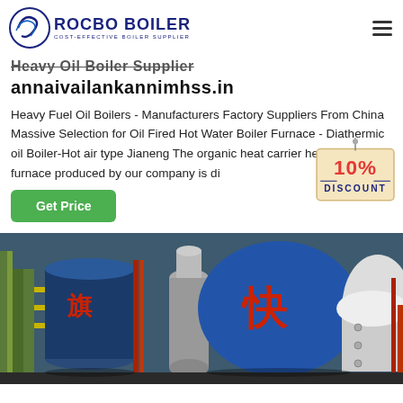ROCBO BOILER - COST-EFFECTIVE BOILER SUPPLIER
Heavy Oil Boiler Supplier
annaivailankannimhss.in
Heavy Fuel Oil Boilers - Manufacturers Factory Suppliers From China Massive Selection for Oil Fired Hot Water Boiler Furnace - Diathermic oil Boiler-Hot air type Jianeng The organic heat carrier heat conduction furnace produced by our company is di...
[Figure (photo): Industrial boilers in a factory setting, showing large cylindrical blue boiler vessels with Chinese characters, surrounded by pipes and industrial equipment]